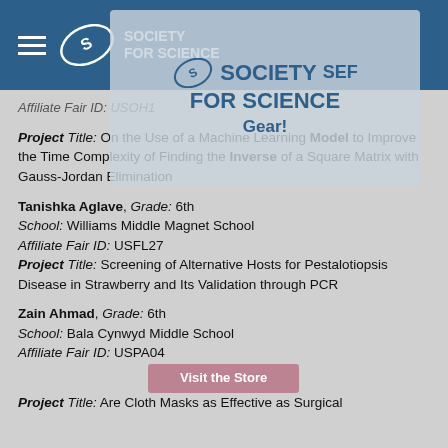Society for Science SEF
Affiliate Fair ID: USOH1
Project Title: On the Use of a Machine Learning Model to Improve the Time Complexity of Finding the Inverse of a Square Matrix with Gauss-Jordan Elimination
Tanishka Aglave, Grade: 6th
School: Williams Middle Magnet School
Affiliate Fair ID: USFL27
Project Title: Screening of Alternative Hosts for Pestalotiopsis Disease in Strawberry and Its Validation through PCR
Zain Ahmad, Grade: 6th
School: Bala Cynwyd Middle School
Affiliate Fair ID: USPA04
Project Title: Are Cloth Masks as Effective as Surgical...